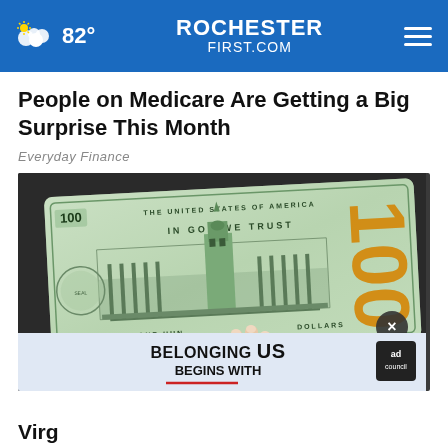82° ROCHESTERFIRST.COM
People on Medicare Are Getting a Big Surprise This Month
Everyday Finance
[Figure (photo): A hand holding a $100 US dollar bill showing the back side with Independence Hall, the text THE UNITED STATES OF AMERICA, IN GOD WE TRUST, ONE HUNDRED DOLLARS, and the large orange 100 numeral on the right side.]
BELONGING BEGINS WITH US
Virg